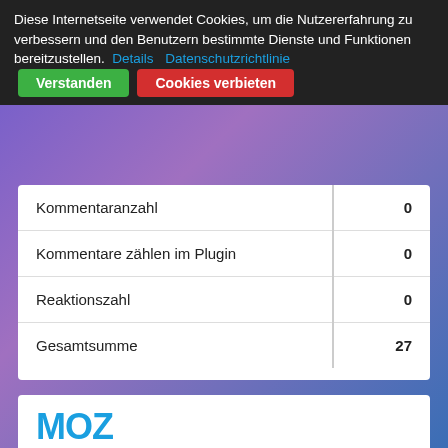Diese Internetseite verwendet Cookies, um die Nutzererfahrung zu verbessern und den Benutzern bestimmte Dienste und Funktionen bereitzustellen. Details  Datenschutzrichtlinie  [Verstanden] [Cookies verbieten]
| Kommentaranzahl | 0 |
| Kommentare zählen im Plugin | 0 |
| Reaktionszahl | 0 |
| Gesamtsumme | 27 |
[Figure (logo): MOZ logo in blue bold stylized text]
| Domain Authority | 3 |
| Page Authority |  |